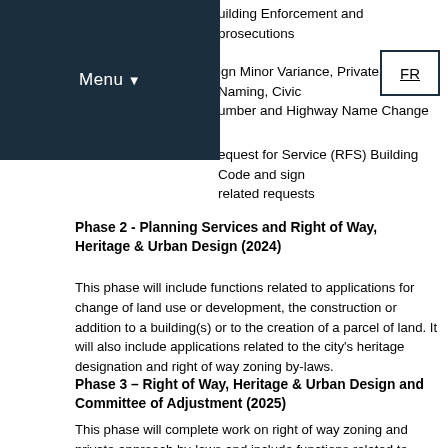Menu
Building Enforcement and prosecutions
Sign Minor Variance, Private Road Naming, Civic Number and Highway Name Change
Request for Service (RFS) Building Code and sign related requests
Phase 2 - Planning Services and Right of Way, Heritage & Urban Design (2024)
This phase will include functions related to applications for change of land use or development, the construction or addition to a building(s) or to the creation of a parcel of land. It will also include applications related to the city's heritage designation and right of way zoning by-laws.
Phase 3 – Right of Way, Heritage & Urban Design and Committee of Adjustment (2025)
This phase will complete work on right of way zoning and private approach by-laws and include functions related to applications for change of land use or development, land